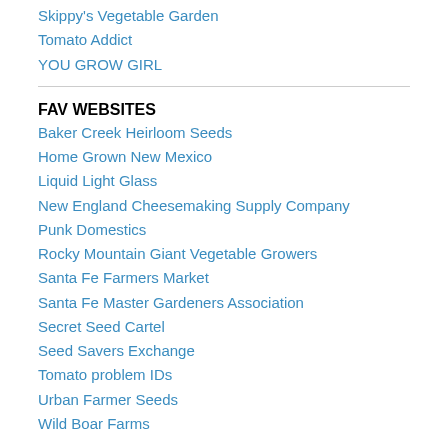Skippy's Vegetable Garden
Tomato Addict
YOU GROW GIRL
FAV WEBSITES
Baker Creek Heirloom Seeds
Home Grown New Mexico
Liquid Light Glass
New England Cheesemaking Supply Company
Punk Domestics
Rocky Mountain Giant Vegetable Growers
Santa Fe Farmers Market
Santa Fe Master Gardeners Association
Secret Seed Cartel
Seed Savers Exchange
Tomato problem IDs
Urban Farmer Seeds
Wild Boar Farms